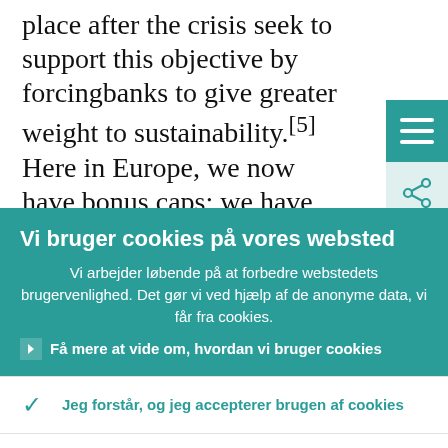place after the crisis seek to support this objective by forcingbanks to give greater weight to sustainability.[5] Here in Europe, we now have bonus caps; we have rules that determine the composition of bonuses
[Figure (screenshot): Two icon buttons on the right side: a teal hamburger menu button and a light teal share button]
Vi bruger cookies på vores websted
Vi arbejder løbende på at forbedre webstedets brugervenlighed. Det gør vi ved hjælp af de anonyme data, vi får fra cookies.
› Få mere at vide om, hvordan vi bruger cookies
✓ Jeg forstår, og jeg accepterer brugen af cookies
✗ Jeg accepterer ikke brugen af cookies